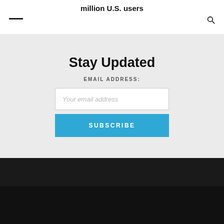million U.S. users
Stay Updated
EMAIL ADDRESS:
Your email address
SUBSCRIBE
- Advertisement -
© Copyright 2017 TechStartups.com